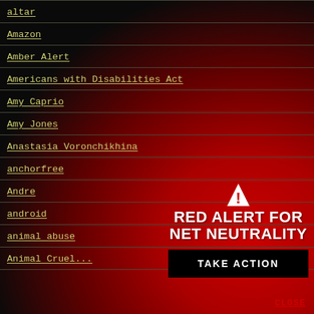altar
Amazon
Amber Alert
Americans with Disabilities Act
Amy Caprio
Amy Jones
Anastasia Voronchikhina
anchorfree
Andre
android
animal abuse
Animal Cruel...
[Figure (infographic): Red alert warning box with warning triangle icon, text 'RED ALERT FOR NET NEUTRALITY', a black 'TAKE ACTION' button, and a 'CLOSE' link]
CLOSE